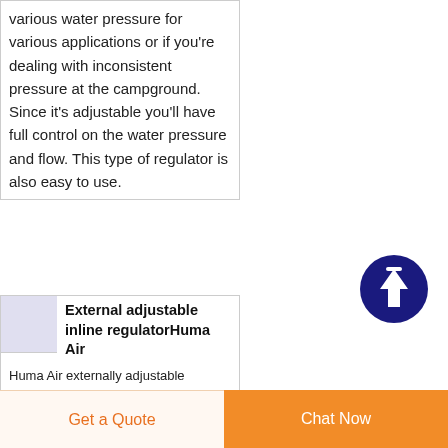various water pressure for various applications or if you're dealing with inconsistent pressure at the campground. Since it's adjustable you'll have full control on the water pressure and flow. This type of regulator is also easy to use.
[Figure (illustration): Dark navy blue circular button with upward arrow icon (scroll to top button)]
[Figure (photo): Small product thumbnail image of a gold/yellow chain or regulator fitting on a light purple background]
External adjustable inline regulatorHuma Air
Huma Air externally adjustable
Get a Quote
Chat Now